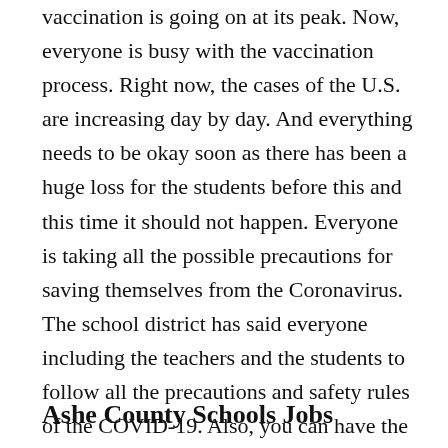vaccination is going on at its peak. Now, everyone is busy with the vaccination process. Right now, the cases of the U.S. are increasing day by day. And everything needs to be okay soon as there has been a huge loss for the students before this and this time it should not happen. Everyone is taking all the possible precautions for saving themselves from the Coronavirus. The school district has said everyone including the teachers and the students to follow all the precautions and safety rules of the COVID-19. Also, you can have the other school districts' updates of the Coronavirus here.
Ashe County Schools Jobs